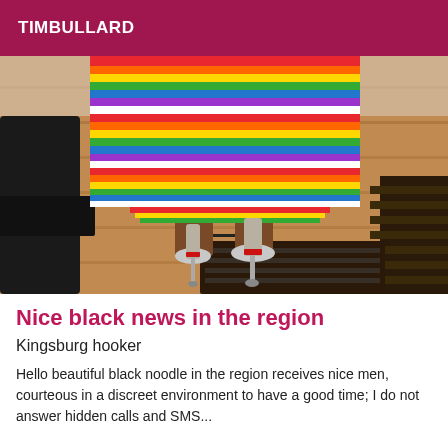TIMBULLARD
[Figure (photo): Close-up photo of a person's legs wearing high silver stiletto heels and a colorful striped skirt, standing on a wooden floor with black furniture visible.]
Nice black news in the region
Kingsburg hooker
Hello beautiful black noodle in the region receives nice men, courteous in a discreet environment to have a good time; I do not answer hidden calls and SMS...